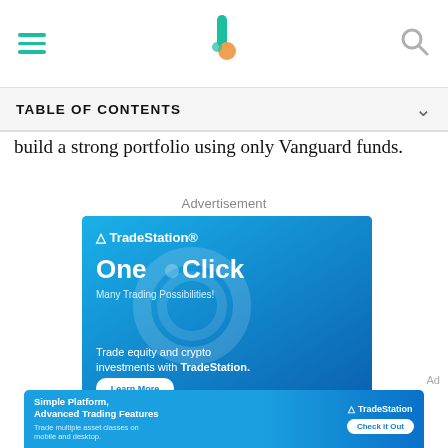TABLE OF CONTENTS
build a strong portfolio using only Vanguard funds.
Advertisement
[Figure (photo): TradeStation advertisement showing a man pointing upward with the text 'One Click Many Trading Possibilities! Trade equity and crypto investments with TradeStation.' and a 'Learn More' button.]
[Figure (photo): TradeStation bottom banner ad: 'Simple Platform, Advanced Trading Features. Trade multiple asset classes on mobile and desktop.' with TradeStation logo and 'Check it Out' button.]